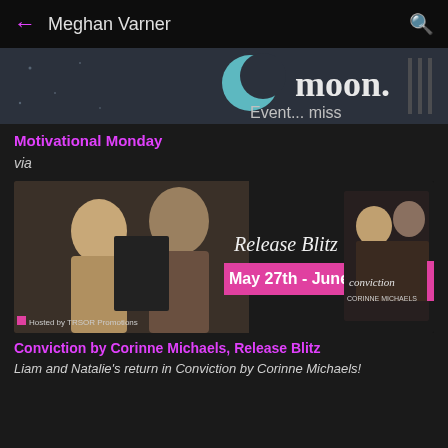Meghan Varner
[Figure (screenshot): Partial banner image showing a crescent moon and partial text 'moon.' and 'Event... miss']
Motivational Monday
via
[Figure (photo): Release Blitz banner for Conviction by Corinne Michaels. Shows a couple (blonde woman and man with beard), text 'Release Blitz May 27th - June 12th', book cover for Conviction by Corinne Michaels, and 'Hosted by TRSOR Promotions' at the bottom.]
Conviction by Corinne Michaels, Release Blitz
Liam and Natalie's return in Conviction by Corinne Michaels!